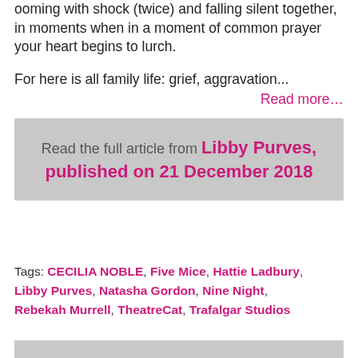ooming with shock (twice) and falling silent together, in moments when in a moment of common prayer your heart begins to lurch.
For here is all family life: grief, aggravation...
Read more...
Read the full article from Libby Purves, published on 21 December 2018
Tags: CECILIA NOBLE, Five Mice, Hattie Ladbury, Libby Purves, Natasha Gordon, Nine Night, Rebekah Murrell, TheatreCat, Trafalgar Studios